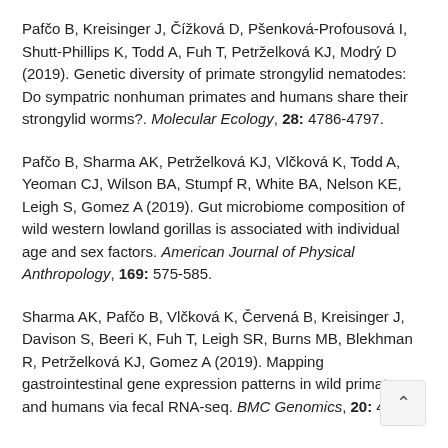Pafčo B, Kreisinger J, Čížková D, Pšenková-Profousová I, Shutt-Phillips K, Todd A, Fuh T, Petrželková KJ, Modrý D (2019). Genetic diversity of primate strongylid nematodes: Do sympatric nonhuman primates and humans share their strongylid worms?. Molecular Ecology, 28: 4786-4797.
Pafčo B, Sharma AK, Petrželková KJ, Vlčková K, Todd A, Yeoman CJ, Wilson BA, Stumpf R, White BA, Nelson KE, Leigh S, Gomez A (2019). Gut microbiome composition of wild western lowland gorillas is associated with individual age and sex factors. American Journal of Physical Anthropology, 169: 575-585.
Sharma AK, Pafčo B, Vlčková K, Červená B, Kreisinger J, Davison S, Beeri K, Fuh T, Leigh SR, Burns MB, Blekhman R, Petrželková KJ, Gomez A (2019). Mapping gastrointestinal gene expression patterns in wild primates and humans via fecal RNA-seq. BMC Genomics, 20: 493.